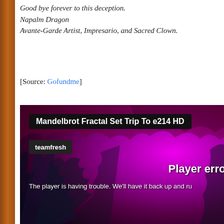Good bye forever to this deception.
Napalm Dragon
Avante-Garde Artist, Impresario, and Sacred Clown.
[Source: Gofundme]
[Figure (screenshot): A YouTube video embed showing 'Mandelbrot Fractal Set Trip To e214 HD' by teamfresh, with a player error message overlaid on a purple fractal background. The error reads: 'Player error' and 'The player is having trouble. We'll have it back up and ru']